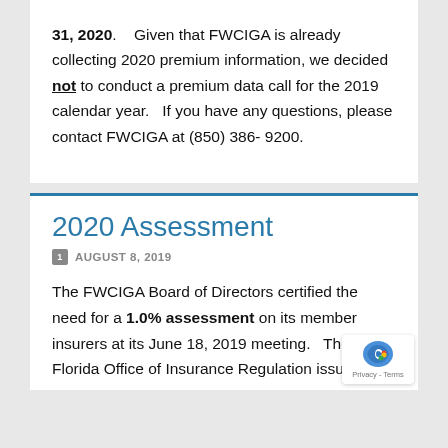31, 2020.    Given that FWCIGA is already collecting 2020 premium information, we decided not to conduct a premium data call for the 2019 calendar year.   If you have any questions, please contact FWCIGA at (850) 386-9200.
2020 Assessment
AUGUST 8, 2019
The FWCIGA Board of Directors certified the need for a 1.0% assessment on its member insurers at its June 18, 2019 meeting.  The Florida Office of Insurance Regulation issued a